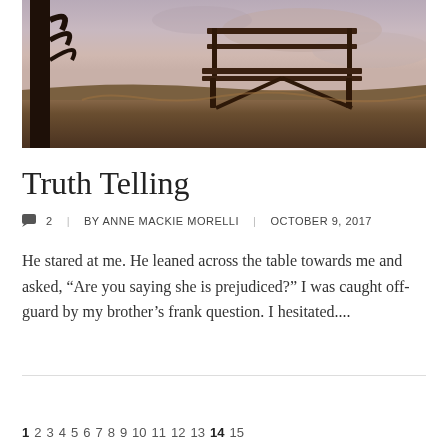[Figure (photo): A park bench on a hill at dusk with a tree silhouette on the left and a cloudy pinkish sky in the background.]
Truth Telling
💬 2  |  BY ANNE MACKIE MORELLI  |  OCTOBER 9, 2017
He stared at me. He leaned across the table towards me and asked, “Are you saying she is prejudiced?” I was caught off-guard by my brother’s frank question. I hesitated....
1  2  3  4  5  6  7  8  9  10  11  12  13  14  15